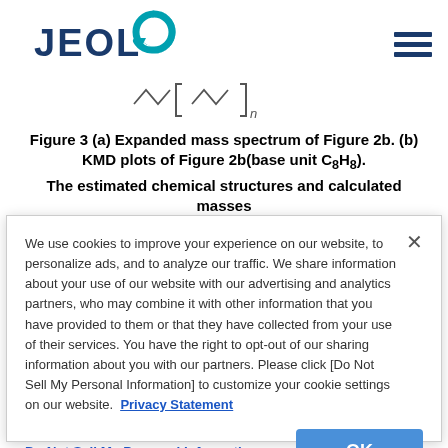[Figure (logo): JEOL logo with teal circular arrow icon and dark blue text]
[Figure (illustration): Chemical structure sketch showing polymer chain with subscript n]
Figure 3 (a) Expanded mass spectrum of Figure 2b. (b) KMD plots of Figure 2b(base unit C8H8).
The estimated chemical structures and calculated masses
We use cookies to improve your experience on our website, to personalize ads, and to analyze our traffic. We share information about your use of our website with our advertising and analytics partners, who may combine it with other information that you have provided to them or that they have collected from your use of their services. You have the right to opt-out of our sharing information about you with our partners. Please click [Do Not Sell My Personal Information] to customize your cookie settings on our website. Privacy Statement
Do Not Sell My Personal Information
OK